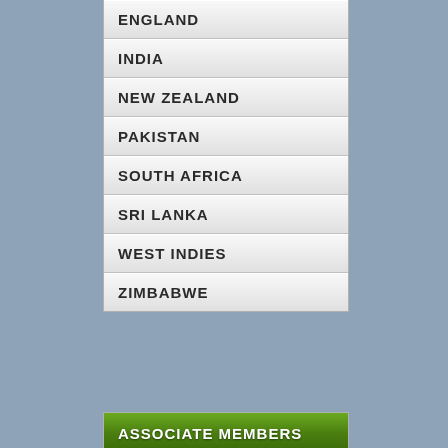ENGLAND
INDIA
NEW ZEALAND
PAKISTAN
SOUTH AFRICA
SRI LANKA
WEST INDIES
ZIMBABWE
ASSOCIATE MEMBERS
AFGHANISTAN